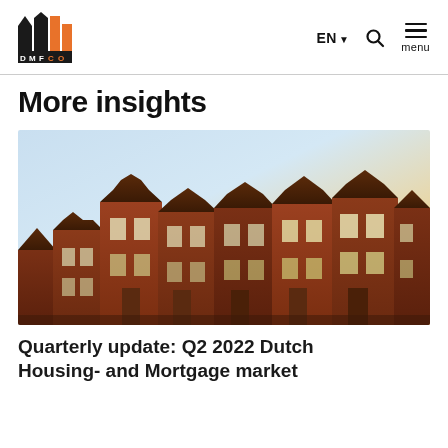DMFCO — EN menu
More insights
[Figure (photo): Row of traditional Dutch brick townhouses with stepped gable roofs photographed at golden hour/dusk, showing red brick facades with white-framed windows.]
Quarterly update: Q2 2022 Dutch Housing- and Mortgage market